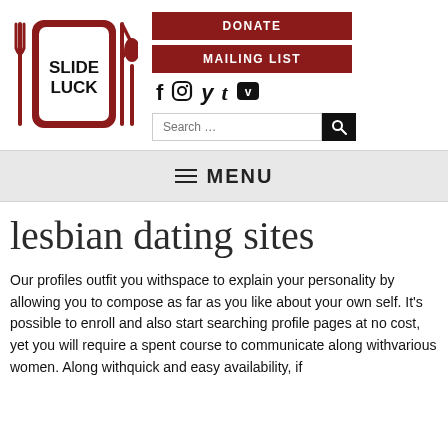[Figure (logo): Slideluck logo: red square plate with fork, knife, spoon icons and 'SLIDE LUCK' text in white]
[Figure (infographic): DONATE and MAILING LIST red buttons, social media icons (f, Instagram, Twitter, t, Vimeo), and a Search input box with magnifying glass button]
MENU
lesbian dating sites
Our profiles outfit you withspace to explain your personality by allowing you to compose as far as you like about your own self. It's possible to enroll and also start searching profile pages at no cost, yet you will require a spent course to communicate along withvarious women. Along withquick and easy availability, if